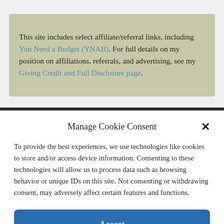This site includes select affiliate/referral links, including You Need a Budget (YNAB). For full details on my position on affiliations, referrals, and advertising, see my Giving Credit and Full Disclosure page.
Manage Cookie Consent
To provide the best experiences, we use technologies like cookies to store and/or access device information. Consenting to these technologies will allow us to process data such as browsing behavior or unique IDs on this site. Not consenting or withdrawing consent, may adversely affect certain features and functions.
Accept
Privacy Privacy